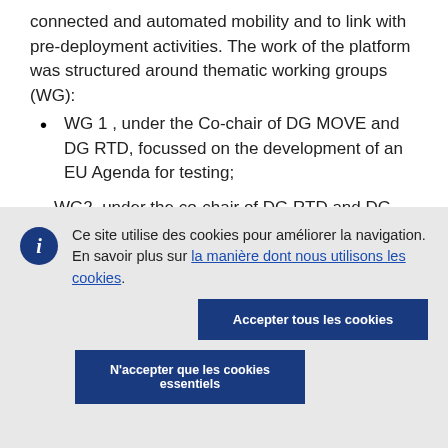connected and automated mobility and to link with pre-deployment activities. The work of the platform was structured around thematic working groups (WG):
WG 1 , under the Co-chair of DG MOVE and DG RTD, focussed on the development of an EU Agenda for testing;
WG2, under the co-chair of DG RTD and DG MOVE
Ce site utilise des cookies pour améliorer la navigation. En savoir plus sur la manière dont nous utilisons les cookies.
Accepter tous les cookies
N'accepter que les cookies essentiels